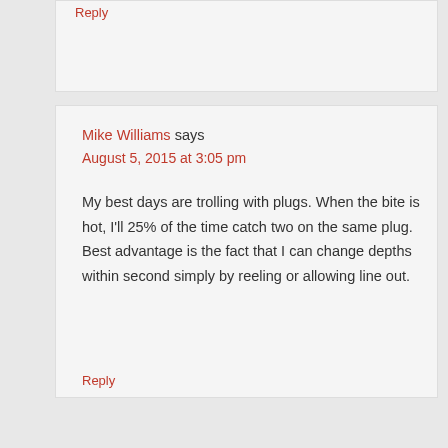Reply
Mike Williams says
August 5, 2015 at 3:05 pm
My best days are trolling with plugs. When the bite is hot, I'll 25% of the time catch two on the same plug. Best advantage is the fact that I can change depths within second simply by reeling or allowing line out.
Reply